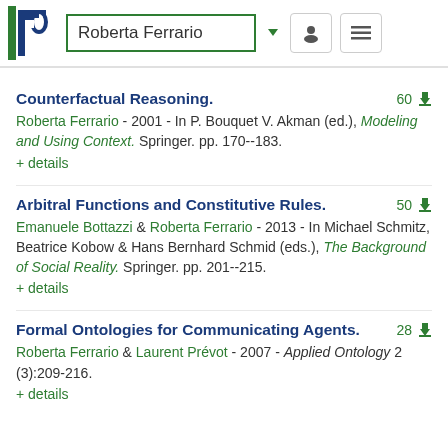Roberta Ferrario
Counterfactual Reasoning.
Roberta Ferrario - 2001 - In P. Bouquet V. Akman (ed.), Modeling and Using Context. Springer. pp. 170--183.
+ details
Arbitral Functions and Constitutive Rules.
Emanuele Bottazzi & Roberta Ferrario - 2013 - In Michael Schmitz, Beatrice Kobow & Hans Bernhard Schmid (eds.), The Background of Social Reality. Springer. pp. 201--215.
+ details
Formal Ontologies for Communicating Agents.
Roberta Ferrario & Laurent Prévot - 2007 - Applied Ontology 2 (3):209-216.
+ details